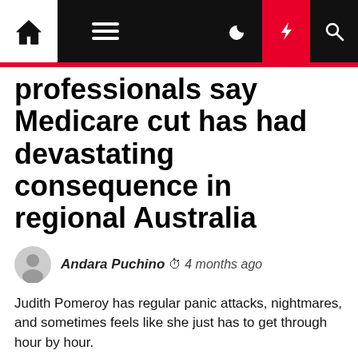Navigation bar with home, menu, dark mode, lightning, and search icons
professionals say Medicare cut has had devastating consequence in regional Australia
Andara Puchino  4 months ago
Judith Pomeroy has regular panic attacks, nightmares, and sometimes feels like she just has to get through hour by hour.
Key points: